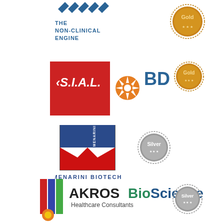[Figure (logo): Top logo with wave/chevron motif and text THE NON-CLINICAL ENGINE, with a Gold medal badge]
[Figure (logo): S.I.A.L. red square logo with BD logo and Gold medal badge]
[Figure (logo): Menarini Biotech M logo with Silver medal badge]
[Figure (logo): AKROS BioScience Healthcare Consultants logo with Silver medal badge]